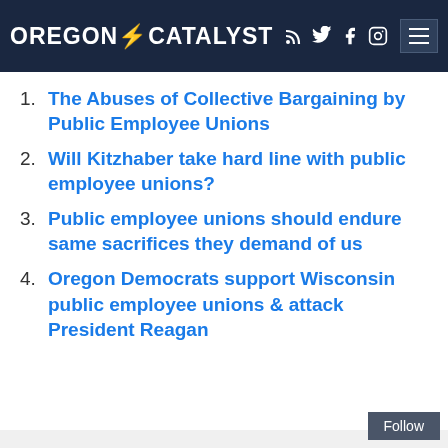OREGON CATALYST
The Abuses of Collective Bargaining by Public Employee Unions
Will Kitzhaber take hard line with public employee unions?
Public employee unions should endure same sacrifices they demand of us
Oregon Democrats support Wisconsin public employee unions & attack President Reagan